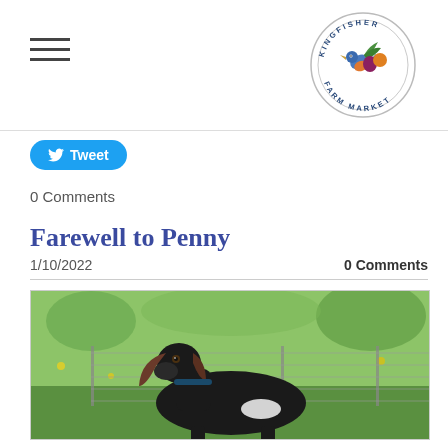[Figure (logo): Kingfisher Farm Market circular logo with a kingfisher bird and vegetables in the center, text around the border reading KINGFISHER FARM MARKET]
[Figure (other): Twitter Tweet button, blue rounded pill shape with Twitter bird icon and text 'Tweet']
0 Comments
Farewell to Penny
1/10/2022
0 Comments
[Figure (photo): A black Nubian goat standing in a grassy field behind a wire fence, looking at the camera]